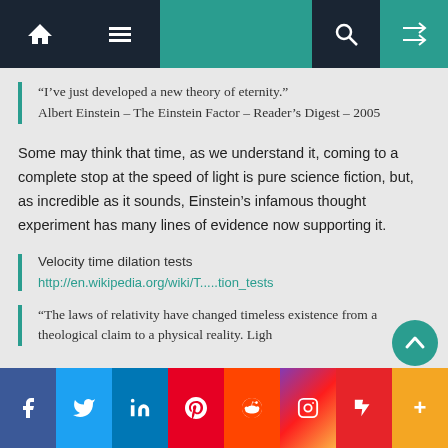Navigation bar with home, menu, search, and shuffle icons
“I’ve just developed a new theory of eternity.” Albert Einstein – The Einstein Factor – Reader’s Digest – 2005
Some may think that time, as we understand it, coming to a complete stop at the speed of light is pure science fiction, but, as incredible as it sounds, Einstein’s infamous thought experiment has many lines of evidence now supporting it.
Velocity time dilation tests
http://en.wikipedia.org/wiki/T.....tion_tests
“The laws of relativity have changed timeless existence from a theological claim to a physical reality. Ligh
Social sharing bar: Facebook, Twitter, LinkedIn, Pinterest, Reddit, Instagram, Flipboard, More